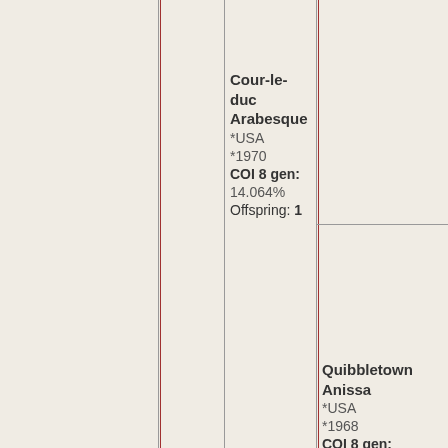Cour-le-duc Arabesque *USA *1970 COI 8 gen: 14.064% Offspring: 1
Quibbletown Anissa *USA *1968 COI 8 gen: 3.786% Offspring: 4